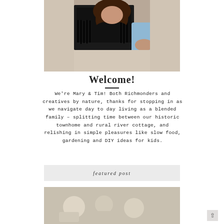[Figure (photo): A couple sitting together, woman in black top with wavy brown hair, man in light blue shirt, partial view from mid-torso up]
Welcome!
We're Mary & Tim! Both Richmonders and creatives by nature, thanks for stopping in as we navigate day to day living as a blended family – splitting time between our historic townhome and rural river cottage, and relishing in simple pleasures like slow food, gardening and DIY ideas for kids.
featured post
[Figure (photo): Partial view of a featured post image, appears to show food or craft items in muted tones]